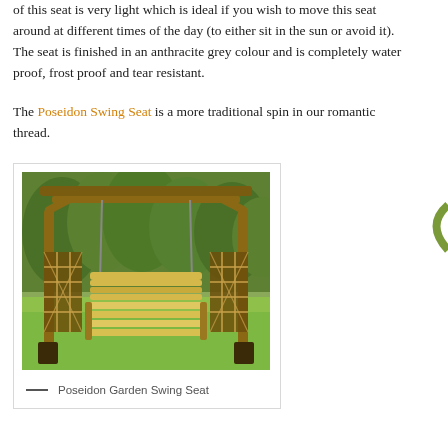of this seat is very light which is ideal if you wish to move this seat around at different times of the day (to either sit in the sun or avoid it). The seat is finished in an anthracite grey colour and is completely water proof, frost proof and tear resistant.
The Poseidon Swing Seat is a more traditional spin in our romantic thread.
[Figure (photo): A wooden garden swing seat with lattice side panels and a slatted bench seat, set on a lawn with green plants in the background. The seat has a pergola-style overhead frame.]
— Poseidon Garden Swing Seat